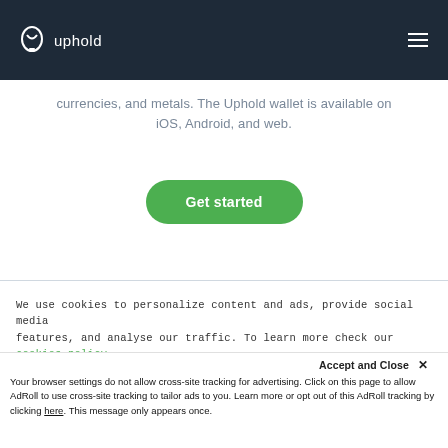uphold
currencies, and metals. The Uphold wallet is available on iOS, Android, and web.
Get started
We use cookies to personalize content and ads, provide social media features, and analyse our traffic. To learn more check our cookies policy.
Accept and Close ×
Your browser settings do not allow cross-site tracking for advertising. Click on this page to allow AdRoll to use cross-site tracking to tailor ads to you. Learn more or opt out of this AdRoll tracking by clicking here. This message only appears once.